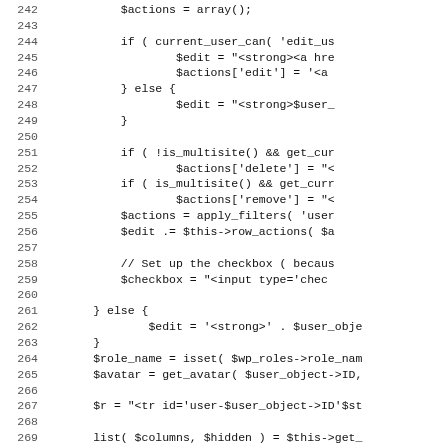Code listing lines 242-274, PHP source code
242: $actions = array();
243: (blank)
244: if ( current_user_can( 'edit_us
245:     $edit = "<strong><a hre
246:     $actions['edit'] = '<a
247: } else {
248:     $edit = "<strong>$user_
249: }
250: (blank)
251: if ( !is_multisite() && get_cur
252:     $actions['delete'] = "<
253: if ( is_multisite() && get_curr
254:     $actions['remove'] = "<
255: $actions = apply_filters( 'user
256: $edit .= $this->row_actions( $a
257: (blank)
258: // Set up the checkbox ( becaus
259: $checkbox = "<input type='chec
260: (blank)
261: } else {
262:     $edit = '<strong>' . $user_obje
263: }
264: $role_name = isset( $wp_roles->role_nam
265: $avatar = get_avatar( $user_object->ID,
266: (blank)
267: $r = "<tr id='user-$user_object->ID'$st
268: (blank)
269: list( $columns, $hidden ) = $this->get_
270: (blank)
271: foreach ( $columns as $column_name => $
272:     $class = "class=\"$column_name
273: (blank)
274: $style = '';